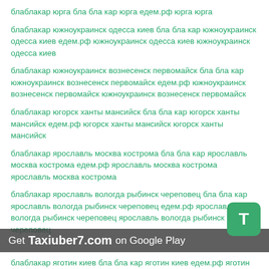блаблакар юрга бла бла кар юрга едем.рф юрга юрга
блаблакар южноукраинск одесса киев бла бла кар южноукраинск одесса киев едем.рф южноукраинск одесса киев южноукраинск одесса киев
блаблакар южноукраинск вознесенск первомайск бла бла кар южноукраинск вознесенск первомайск едем.рф южноукраинск вознесенск первомайск южноукраинск вознесенск первомайск
блаблакар югорск ханты мансийск бла бла кар югорск ханты мансийск едем.рф югорск ханты мансийск югорск ханты мансийск
блаблакар ярославль москва кострома бла бла кар ярославль москва кострома едем.рф ярославль москва кострома ярославль москва кострома
блаблакар ярославль вологда рыбинск череповец бла бла кар ярославль вологда рыбинск череповец едем.рф ярославль вологда рыбинск череповец ярославль вологда рыбинск череповец
блаблакар яготин киев бла бла кар яготин киев едем.рф яготин